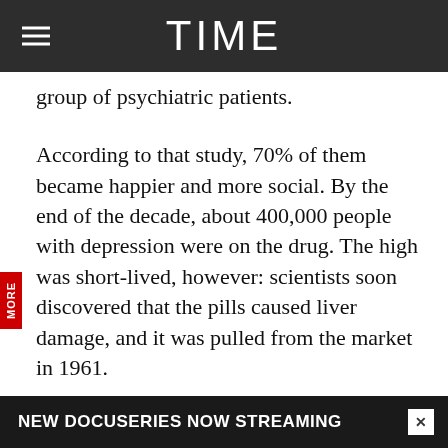TIME
group of psychiatric patients.
According to that study, 70% of them became happier and more social. By the end of the decade, about 400,000 people with depression were on the drug. The high was short-lived, however: scientists soon discovered that the pills caused liver damage, and it was pulled from the market in 1961.
Another experimental drug, imipramine, was supposedly an antipsychotic, but scientists discovered in 1957 that it worked much better on people with depression. It became the first in a class of what's called a tricyclic antidepressant, so named for its three…
NEW DOCUSERIES NOW STREAMING